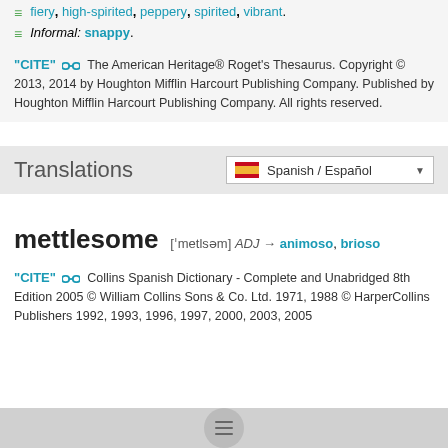≡ fiery, high-spirited, peppery, spirited, vibrant.
≡ Informal: snappy.
"CITE" 🔗 The American Heritage® Roget's Thesaurus. Copyright © 2013, 2014 by Houghton Mifflin Harcourt Publishing Company. Published by Houghton Mifflin Harcourt Publishing Company. All rights reserved.
Translations
🇪🇸 Spanish / Español
mettlesome ['metlsəm] ADJ → animoso, brioso
"CITE" 🔗 Collins Spanish Dictionary - Complete and Unabridged 8th Edition 2005 © William Collins Sons & Co. Ltd. 1971, 1988 © HarperCollins Publishers 1992, 1993, 1996, 1997, 2000, 2003, 2005